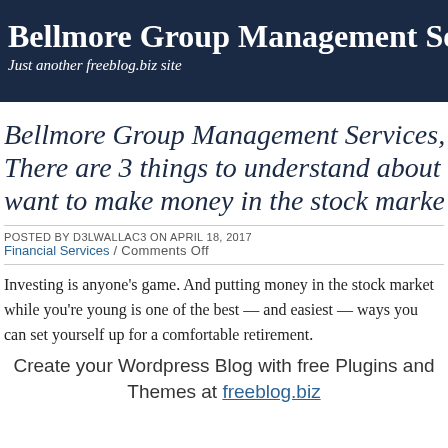Bellmore Group Management Services
Just another freeblog.biz site
Bellmore Group Management Services, Tok... There are 3 things to understand about inve... want to make money in the stock market
POSTED BY D3LWALLAC3 ON APRIL 18, 2017
Financial Services / Comments Off
Investing is anyone’s game. And putting money in the stock market while you’re young is one of the best — and easiest — ways you can set yourself up for a comfortable retirement.
Create your Wordpress Blog with free Plugins and Themes at freeblog.biz